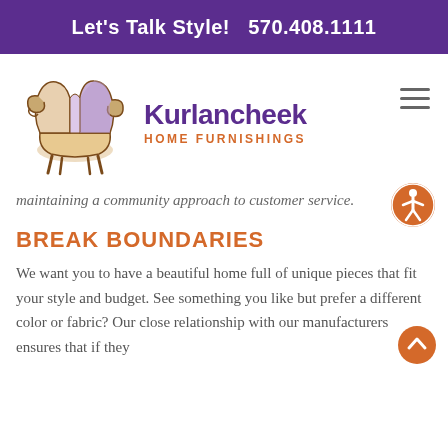Let's Talk Style!   570.408.1111
[Figure (logo): Kurlancheek Home Furnishings logo — illustrated armchair with brand name]
maintaining a community approach to customer service.
BREAK BOUNDARIES
We want you to have a beautiful home full of unique pieces that fit your style and budget. See something you like but prefer a different color or fabric? Our close relationship with our manufacturers ensures that if they